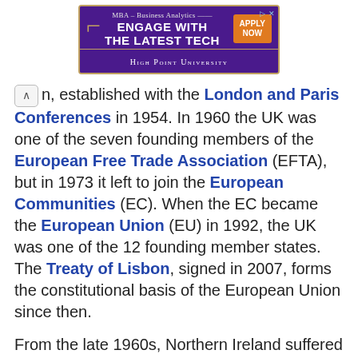[Figure (other): Advertisement banner for High Point University MBA – Business Analytics program with purple background, gold border, and orange Apply Now button]
n, established with the London and Paris Conferences in 1954. In 1960 the UK was one of the seven founding members of the European Free Trade Association (EFTA), but in 1973 it left to join the European Communities (EC). When the EC became the European Union (EU) in 1992, the UK was one of the 12 founding member states. The Treaty of Lisbon, signed in 2007, forms the constitutional basis of the European Union since then.
From the late 1960s, Northern Ireland suffered communal and paramilitary violence (sometimes affecting other parts of the UK) conventionally known as the Troubles. It is usually considered to have ended with the